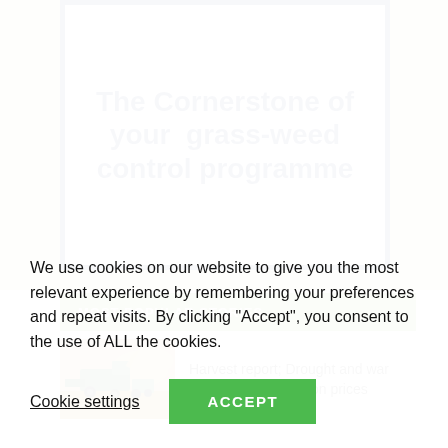The Cornerstone of your  grass-weed control programme
MOST POPULAR STORIES
[Figure (photo): A combine harvester working in a field, kicking up dust, with a tractor nearby]
Harvest report; Drought and war having major effect on prices
We use cookies on our website to give you the most relevant experience by remembering your preferences and repeat visits. By clicking “Accept”, you consent to the use of ALL the cookies.
Cookie settings
ACCEPT